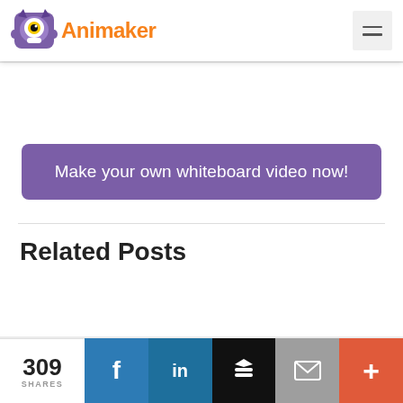[Figure (logo): Animaker logo: purple monster character icon with 'Animaker' text in orange]
[Figure (other): Hamburger menu icon (three horizontal lines) in a light grey box]
Make your own whiteboard video now!
Related Posts
309 SHARES
[Figure (other): Share bar with Facebook (f), LinkedIn (in), Buffer (layers icon), Email (envelope icon), and More (+) buttons]